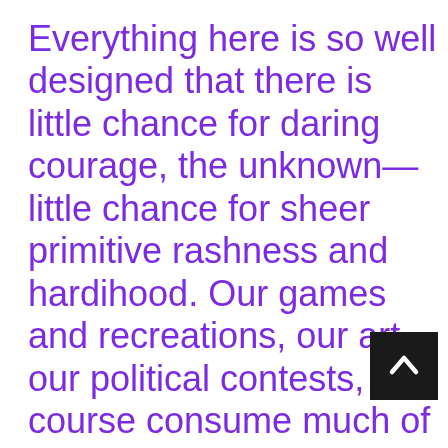Everything here is so well designed that there is little chance for daring courage, the unknown—little chance for sheer primitive rashness and hardihood. Our games and recreations, our art, our political contests, of course consume much of our surplus energy; but, after all, we are the children of savage ancestors, and among our young there is a craving for keener experience. And so we of the Emergence Party favor the increa f population, so that those who wis may enjoy the greatest adventure of all